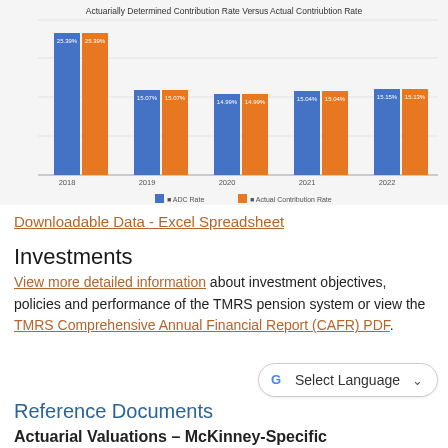[Figure (grouped-bar-chart): Actuarially Determined Contribution Rate Versus Actual Contribution Rate]
Downloadable Data - Excel Spreadsheet
Investments
View more detailed information about investment objectives, policies and performance of the TMRS pension system or view the TMRS Comprehensive Annual Financial Report (CAFR) PDF.
Reference Documents
Actuarial Valuations – McKinney-Specific